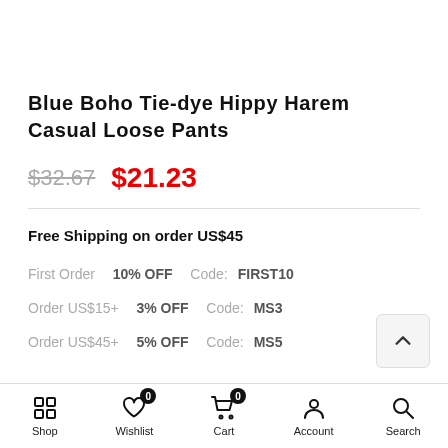Blue Boho Tie-dye Hippy Harem Casual Loose Pants
$32.67  $21.23
Free Shipping on order US$45
First Order  10% OFF  Code: FIRST10
Order US$15+  3% OFF  Code: MS3
Order US$45+  5% OFF  Code: MS5
Shop  Wishlist  Cart  Account  Search